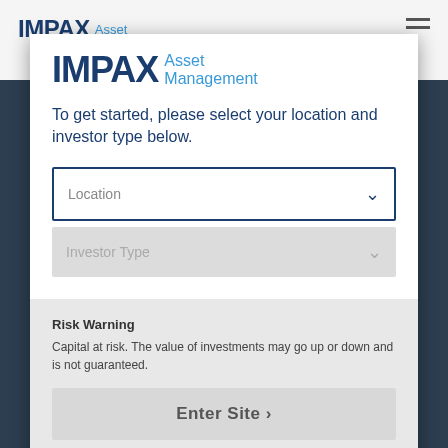[Figure (logo): IMPAX Asset Management logo in the page header bar at top]
[Figure (logo): IMPAX Asset Management logo inside modal dialog, bold dark blue IMPAX with light blue Asset Management text]
To get started, please select your location and investor type below.
Location
Investor Type
Risk Warning
Capital at risk. The value of investments may go up or down and is not guaranteed.
Enter Site
Privacy & Cookies